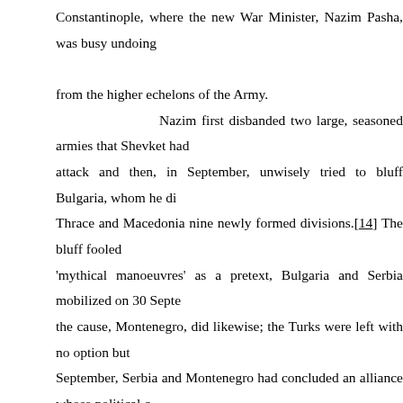Constantinople, where the new War Minister, Nazim Pasha, was busy undoing from the higher echelons of the Army. Nazim first disbanded two large, seasoned armies that Shevket had attack and then, in September, unwisely tried to bluff Bulgaria, whom he di Thrace and Macedonia nine newly formed divisions.[14] The bluff fooled 'mythical manoeuvres' as a pretext, Bulgaria and Serbia mobilized on 30 Septe the cause, Montenegro, did likewise; the Turks were left with no option but September, Serbia and Montenegro had concluded an alliance whose political c general conditions in Europe were 'very favourable for action', war should be one party was not yet ready, in which case there could be one postponement;[ (though there was a rumour at the time that they had kicked off early so the K securities on the Vienna Stock Exchange'[16]) the Montenegrins declared war Balkan States are about to declare war', noted Lord Stamfordham, the Ki end.'[17]